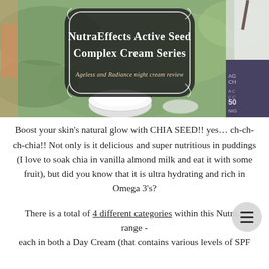[Figure (photo): Hero image of NutraEffects Active Seed Complex Cream Series with cream jars and product boxes on a green leafy background. A decorative black badge in the center reads 'NutraEffects Active Seed Complex Cream Series — Ageless and Radiance night cream review' in white text.]
Boost your skin's natural glow with CHIA SEED!! yes… ch-ch-ch-chia!! Not only is it delicious and super nutritious in puddings (I love to soak chia in vanilla almond milk and eat it with some fruit), but did you know that it is ultra hydrating and rich in Omega 3's?
There is a total of 4 different categories within this Nutra... range - each in both a Day Cream (that contains various levels of SPF and an additional F...